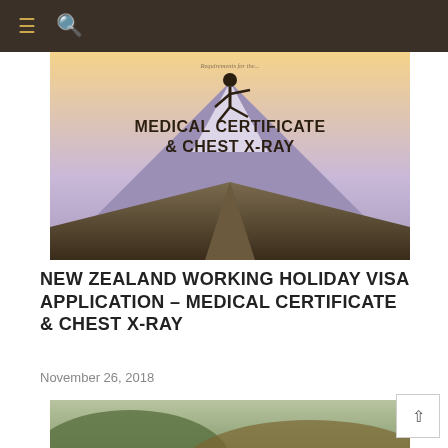≡  🔍
[Figure (photo): Person jumping over a snowy mountain peak (Mt. Taranaki, New Zealand) with text overlay: 'Medical Certificate & Chest X-Ray']
NEW ZEALAND WORKING HOLIDAY VISA APPLICATION – MEDICAL CERTIFICATE & CHEST X-RAY
November 26, 2018
[Figure (photo): Aerial landscape photo of New Zealand with a campervan on a road, with text overlay: 'HOW TO PREPARE & APPLY FOR']